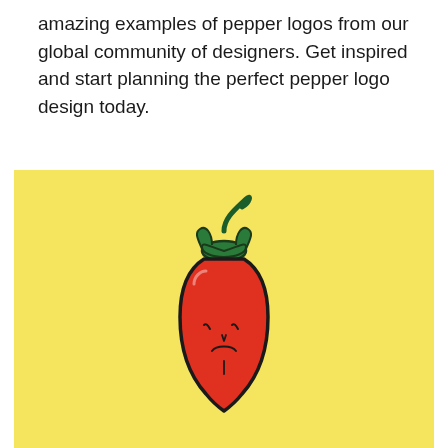amazing examples of pepper logos from our global community of designers. Get inspired and start planning the perfect pepper logo design today.
[Figure (illustration): A cartoon chili pepper illustration on a yellow background. The red pepper has a green stem/top with a curled tip, and a sad face drawn on it with simple lines.]